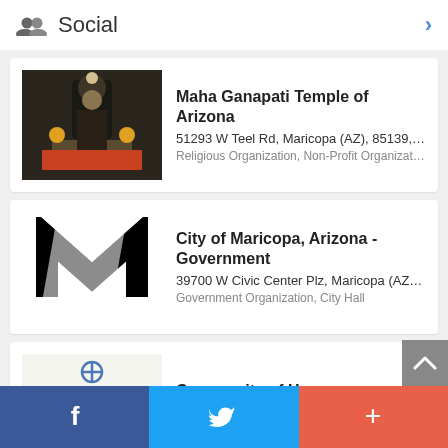Social
Maha Ganapati Temple of Arizona
51293 W Teel Rd, Maricopa (AZ), 85139, United...
Religious Organization, Non-Profit Organization, Hindu...
City of Maricopa, Arizona - Government
39700 W Civic Center Plz, Maricopa (AZ), 85138...
Government Organization, City Hall
Community of Hope
45295 W Honeycutt Ave, Maricopa (AZ), 85139,...
Church, Religious Organization, Non-Profit Organization
City of Maricopa Public Lib...